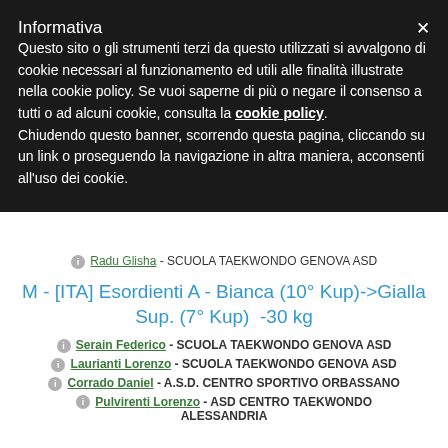Informativa
Questo sito o gli strumenti terzi da questo utilizzati si avvalgono di cookie necessari al funzionamento ed utili alle finalità illustrate nella cookie policy. Se vuoi saperne di più o negare il consenso a tutti o ad alcuni cookie, consulta la cookie policy.
Chiudendo questo banner, scorrendo questa pagina, cliccando su un link o proseguendo la navigazione in altra maniera, acconsenti all'uso dei cookie.
ℹ Radu Glisha - SCUOLA TAEKWONDO GENOVA ASD
M - [ITA] Esordienti A - Bianca (10° Kup)->Gialla Sup. (7° Kup)  -30 kg
ℹ Serain Federico - SCUOLA TAEKWONDO GENOVA ASD
ℹ Laurianti Lorenzo - SCUOLA TAEKWONDO GENOVA ASD
ℹ Corrado Daniel - A.S.D. CENTRO SPORTIVO ORBASSANO
ℹ Pulvirenti Lorenzo - ASD CENTRO TAEKWONDO ALESSANDRIA